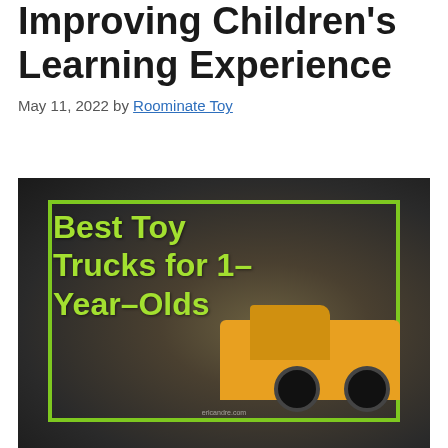Improving Children's Learning Experience
May 11, 2022 by Roominate Toy
[Figure (photo): Photo of a yellow toy truck (construction/crane truck) on a dark blurred background with a green rectangular border overlay and text reading 'Best Toy Trucks for 1-Year-Olds' in bright green. Small watermark text 'ericandre.com' at bottom.]